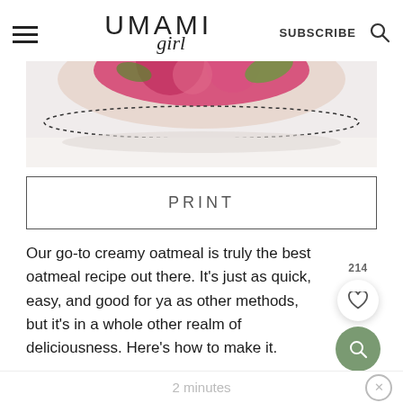UMAMI girl — SUBSCRIBE
[Figure (photo): Close-up of a decorative bowl with pink floral pattern, partially visible at top of content]
PRINT
Our go-to creamy oatmeal is truly the best oatmeal recipe out there. It's just as quick, easy, and good for ya as other methods, but it's in a whole other realm of deliciousness. Here's how to make it.
PREP TIME
2 minutes